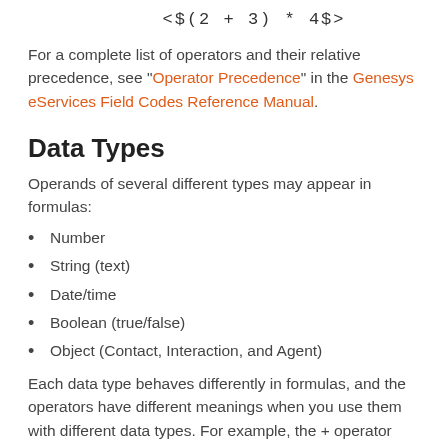For a complete list of operators and their relative precedence, see "Operator Precedence" in the Genesys eServices Field Codes Reference Manual.
Data Types
Operands of several different types may appear in formulas:
Number
String (text)
Date/time
Boolean (true/false)
Object (Contact, Interaction, and Agent)
Each data type behaves differently in formulas, and the operators have different meanings when you use them with different data types. For example, the + operator